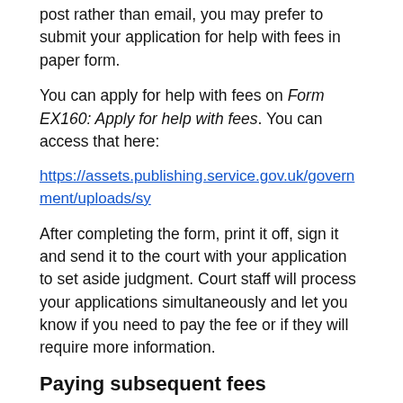post rather than email, you may prefer to submit your application for help with fees in paper form.
You can apply for help with fees on Form EX160: Apply for help with fees. You can access that here:
https://assets.publishing.service.gov.uk/government/uploads/sy
After completing the form, print it off, sign it and send it to the court with your application to set aside judgment. Court staff will process your applications simultaneously and let you know if you need to pay the fee or if they will require more information.
Paying subsequent fees
You'll need to make a new application for help with fees each time you incur a court fee.
For example, you'll need to apply for help with paying the initial fee of £275 when you submit your application to set aside judgment. If the claimant subsequently consents to